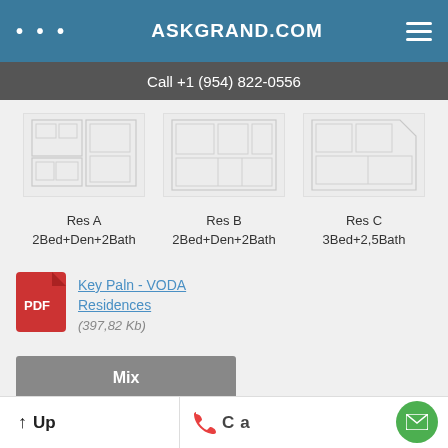ASKGRAND.COM
Call +1 (954) 822-0556
[Figure (illustration): Three floor plan images for Res A, Res B, Res C shown side by side]
Res A 2Bed+Den+2Bath
Res B 2Bed+Den+2Bath
Res C 3Bed+2,5Bath
Key Paln - VODA Residences (397,82 Kb)
Mix
Two Bedrooms
Up | Call | (email icon)